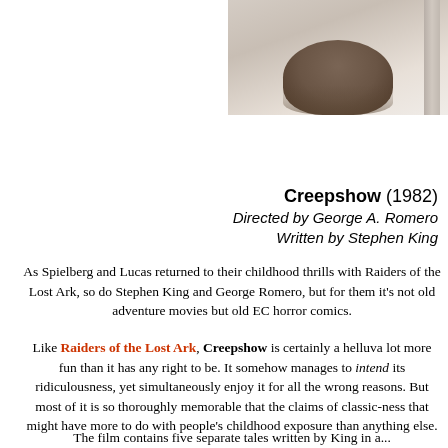[Figure (photo): Partial photo of a person's head/hair against a light background with a post visible on the right side, cropped into the top-right corner of the page]
Creepshow (1982)
Directed by George A. Romero
Written by Stephen King
As Spielberg and Lucas returned to their childhood thrills with Raiders of the Lost Ark, so do Stephen King and George Romero, but for them it's not old adventure movies but old EC horror comics.
Like Raiders of the Lost Ark, Creepshow is certainly a helluva lot more fun than it has any right to be. It somehow manages to intend its ridiculousness, yet simultaneously enjoy it for all the wrong reasons. But most of it is so thoroughly memorable that the claims of classic-ness that might have more to do with people's childhood exposure than anything else.
The film contains five separate tales written by King in a...